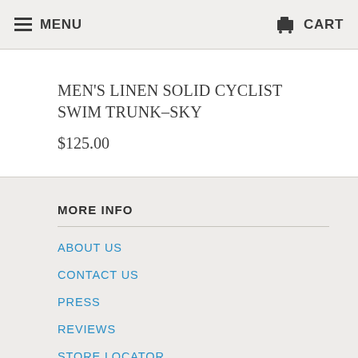MENU  CART
MEN'S LINEN SOLID CYCLIST SWIM TRUNK–SKY
$125.00
MORE INFO
ABOUT US
CONTACT US
PRESS
REVIEWS
STORE LOCATOR
SIZE CHART